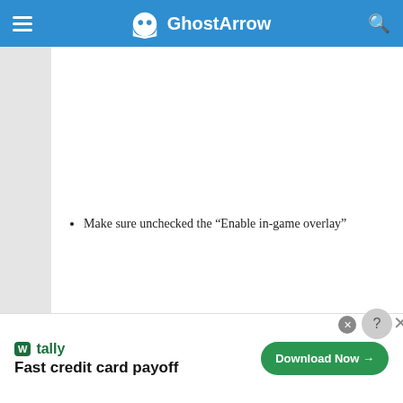GhostArrow
Make sure unchecked the “Enable in-game overlay”
[Figure (screenshot): Discord settings screenshot showing OVERLAY section with 'Enable in-game overlay' toggle turned off]
[Figure (other): Tally advertisement banner: Fast credit card payoff, Download Now button]